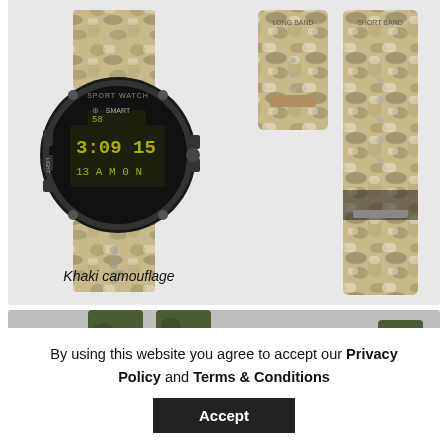[Figure (photo): Khaki camouflage sport watch with black digital face and two detached camouflage watch bands shown separately on the right side]
Khaki camouflage
[Figure (photo): Partial view of green camouflage watch bands at the bottom]
By using this website you agree to accept our Privacy Policy and Terms & Conditions
Accept